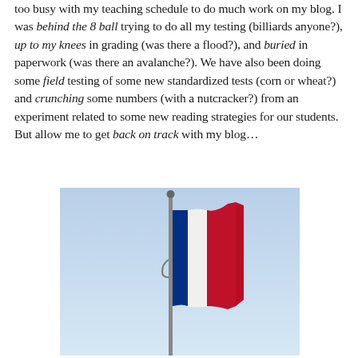too busy with my teaching schedule to do much work on my blog. I was behind the 8 ball trying to do all my testing (billiards anyone?), up to my knees in grading (was there a flood?), and buried in paperwork (was there an avalanche?). We have also been doing some field testing of some new standardized tests (corn or wheat?) and crunching some numbers (with a nutcracker?) from an experiment related to some new reading strategies for our students. But allow me to get back on track with my blog…
[Figure (photo): A French tricolor flag (blue, white, red) on a flagpole against a light blue sky.]